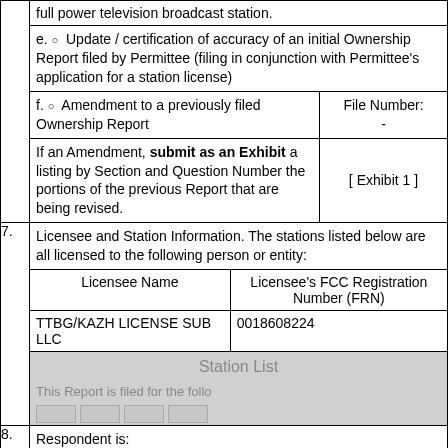| full power television broadcast station. |
| e. ○  Update / certification of accuracy of an initial Ownership Report filed by Permittee (filing in conjunction with Permittee's application for a station license) |
| f. ○  Amendment to a previously filed Ownership Report | File Number:
- |
| If an Amendment, submit as an Exhibit a listing by Section and Question Number the portions of the previous Report that are being revised. | [ Exhibit 1 ] |
| 7. | Licensee and Station Information. The stations listed below are all licensed to the following person or entity: |
| Licensee Name | Licensee's FCC Registration Number (FRN) |
| TTBG/KAZH LICENSE SUB LLC | 0018608224 |
| Station List | This Report is filed for the follo... |
| 8. | Respondent is: |
| ○ Sole | ○ Not-for-profit | ○ Limited |